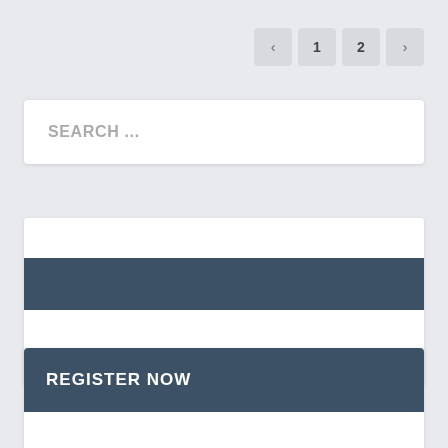< 1 2 >
SEARCH ...
[Figure (other): A UI card with a dark blue header bar and white body area]
[Figure (other): A UI card with dark blue 'REGISTER NOW' header and white body area]